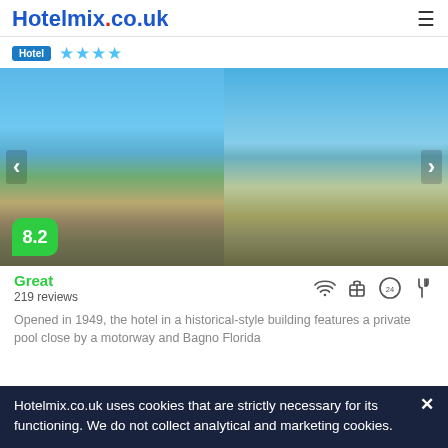Hotelmix.co.uk
Hotel ★★★★
[Figure (photo): Hotel exterior photo with beach/sea on left and a multi-story historical-style hotel building facade on the right. Score badge 8.2 overlaid at bottom left.]
Great
219 reviews
Opened in 1949, the hotel in a historical-style building features a private pool close by a motorway and Bagno Florida
Hotelmix.co.uk uses cookies that are strictly necessary for its functioning. We do not collect analytical and marketing cookies.